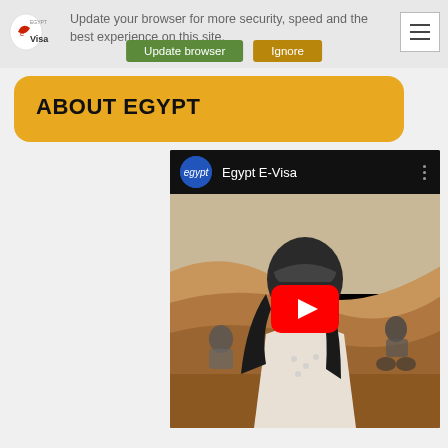Update your browser for more security, speed and the best experience on this site.
ABOUT EGYPT
[Figure (screenshot): YouTube video embed showing Egypt E-Visa channel, with a woman wearing a motorcycle helmet in a desert scene, with a YouTube play button overlay]